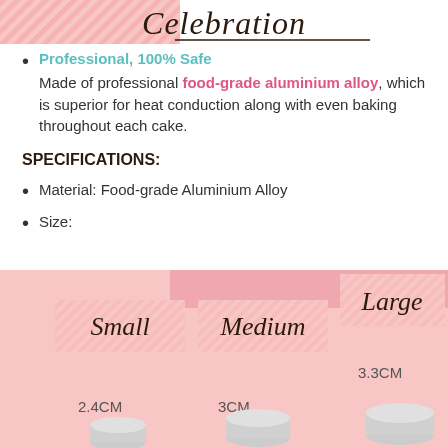[Figure (illustration): Top decorative banner with pink diagonal stripes and cursive script title 'Celebration']
Professional, 100% Safe — Made of professional food-grade aluminium alloy, which is superior for heat conduction along with even baking throughout each cake.
SPECIFICATIONS:
Material: Food-grade Aluminium Alloy
Size:
[Figure (infographic): Pink background size chart showing Small (2.4CM), Medium (3CM), and Large (3.3CM) cake tin sizes with cursive labels and product photos]